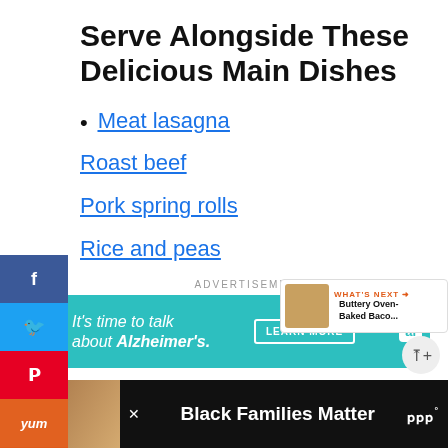Serve Alongside These Delicious Main Dishes
Meat lasagna
Roast beef
Pork spring rolls
Rice and peas
[Figure (screenshot): Social media share sidebar with Facebook, Twitter, Pinterest, Yummly, and Mix buttons]
[Figure (screenshot): Advertisement banner: 'It's time to talk about Alzheimer's.' with LEARN MORE button and al logo]
[Figure (screenshot): WHAT'S NEXT banner: Buttery Oven-Baked Baco... with food thumbnail]
[Figure (screenshot): Bottom advertisement bar: Black Families Matter with photo of people and Wondermind logo]